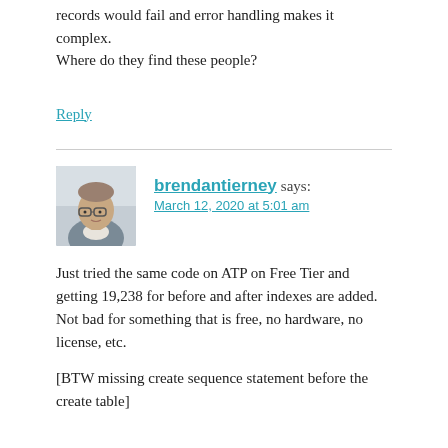records would fail and error handling makes it complex.
Where do they find these people?
Reply
brendantierney says:
March 12, 2020 at 5:01 am
Just tried the same code on ATP on Free Tier and getting 19,238 for before and after indexes are added.
Not bad for something that is free, no hardware, no license, etc.
[BTW missing create sequence statement before the create table]